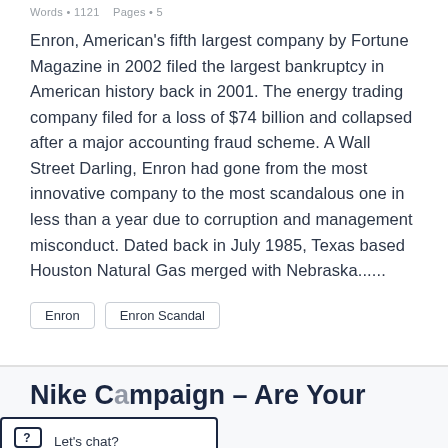Words • 1121    Pages • 5
Enron, American's fifth largest company by Fortune Magazine in 2002 filed the largest bankruptcy in American history back in 2001. The energy trading company filed for a loss of $74 billion and collapsed after a major accounting fraud scheme. A Wall Street Darling, Enron had gone from the most innovative company to the most scandalous one in less than a year due to corruption and management misconduct. Dated back in July 1985, Texas based Houston Natural Gas merged with Nebraska......
Enron
Enron Scandal
Nike Campaign – Are Your